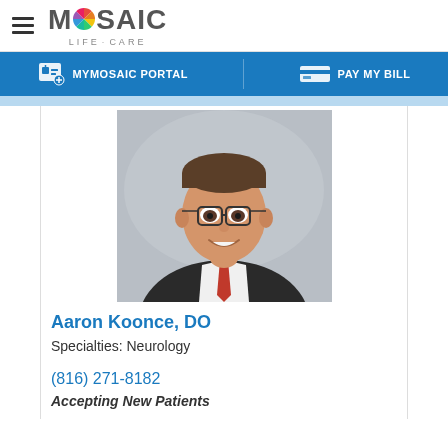MOSAIC LIFE CARE
MYMOSAIC PORTAL   PAY MY BILL
[Figure (photo): Professional headshot of Aaron Koonce, DO - a man wearing glasses, a dark cardigan, white shirt, and red tie, smiling at the camera]
Aaron Koonce, DO
Specialties: Neurology
(816) 271-8182
Accepting New Patients